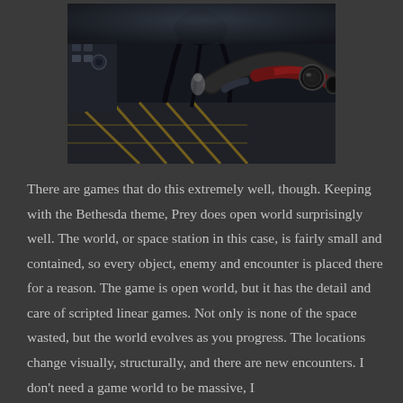[Figure (screenshot): A dark cyberpunk/sci-fi first-person video game screenshot. A character with a mechanical arm holds a futuristic weapon on the right side. In the background, a dark alien creature looms above, and the environment appears to be a gritty industrial or space station setting with yellow crosshatch floor markings.]
There are games that do this extremely well, though. Keeping with the Bethesda theme, Prey does open world surprisingly well. The world, or space station in this case, is fairly small and contained, so every object, enemy and encounter is placed there for a reason. The game is open world, but it has the detail and care of scripted linear games. Not only is none of the space wasted, but the world evolves as you progress. The locations change visually, structurally, and there are new encounters. I don't need a game world to be massive, I